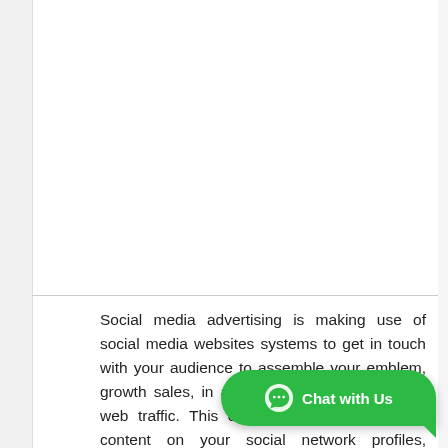Social media advertising is making use of social media websites systems to get in touch with your audience to assemble your emblem, growth sales, in addition to drive internet site web traffic. This consists of posting notable content on your social network profiles, listening to and